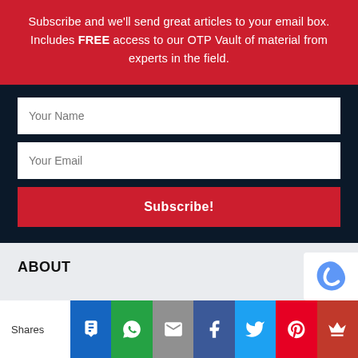Subscribe and we'll send great articles to your email box. Includes FREE access to our OTP Vault of material from experts in the field.
[Figure (screenshot): Email subscription form with dark background. Contains 'Your Name' text input, 'Your Email' text input, and a red 'Subscribe!' button.]
ABOUT
[Figure (infographic): Social share bar at the bottom with icons for SMS, WhatsApp, Email, Facebook, Twitter, Pinterest, and an unknown crown icon. Left label reads 'Shares'.]